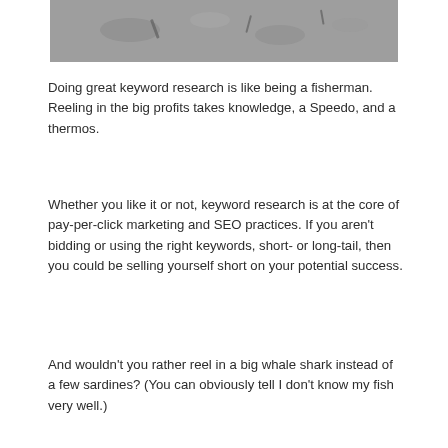[Figure (photo): Partial photo of fish or marine creatures on a surface, cropped at top]
Doing great keyword research is like being a fisherman. Reeling in the big profits takes knowledge, a Speedo, and a thermos.
Whether you like it or not, keyword research is at the core of pay-per-click marketing and SEO practices. If you aren't bidding or using the right keywords, short- or long-tail, then you could be selling yourself short on your potential success.
And wouldn't you rather reel in a big whale shark instead of a few sardines? (You can obviously tell I don't know my fish very well.)